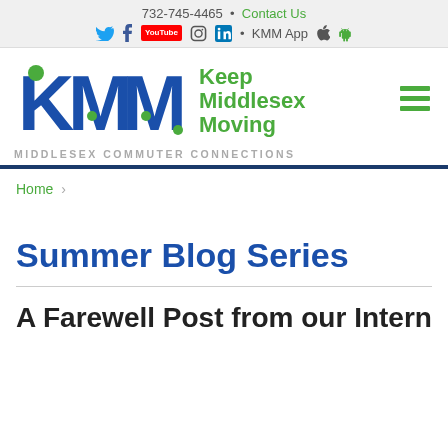732-745-4465 • Contact Us
[Figure (logo): KMM Keep Middlesex Moving logo with social media icons and hamburger menu]
MIDDLESEX COMMUTER CONNECTIONS
Home ›
Summer Blog Series
A Farewell Post from our Intern